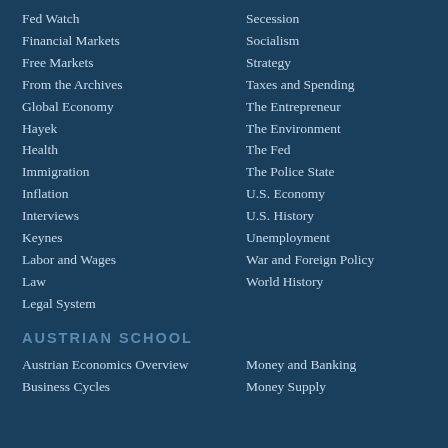Fed Watch
Financial Markets
Free Markets
From the Archives
Global Economy
Hayek
Health
Immigration
Inflation
Interviews
Keynes
Labor and Wages
Law
Legal System
Secession
Socialism
Strategy
Taxes and Spending
The Entrepreneur
The Environment
The Fed
The Police State
U.S. Economy
U.S. History
Unemployment
War and Foreign Policy
World History
AUSTRIAN SCHOOL
Austrian Economics Overview
Business Cycles
Money and Banking
Money Supply